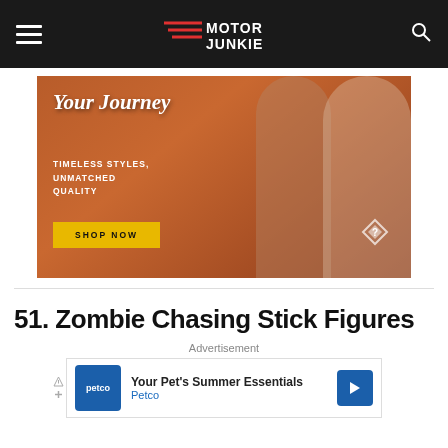Motor Junkie
[Figure (photo): Advertisement banner showing two women wearing stylish sunglasses with text 'Your Journey', 'TIMELESS STYLES, UNMATCHED QUALITY', and a yellow 'SHOP NOW' button on a warm brown/orange background.]
51. Zombie Chasing Stick Figures
Advertisement
[Figure (photo): Petco advertisement: 'Your Pet's Summer Essentials' with Petco logo and blue arrow icon.]